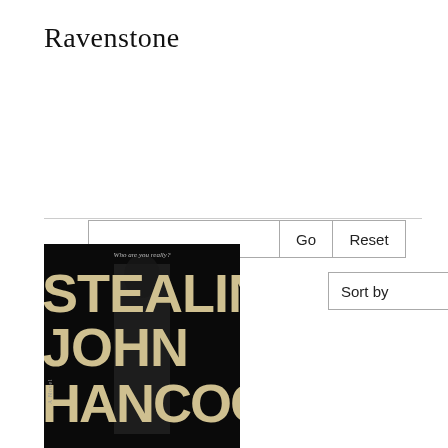Ravenstone
[Figure (screenshot): Search bar with text input field, 'Go' button, and 'Reset' button, followed by a 'Sort by' dropdown]
[Figure (photo): Book cover of 'Stealing John Hancock' with tagline 'Who are you really?' on a dark background with large bold text]